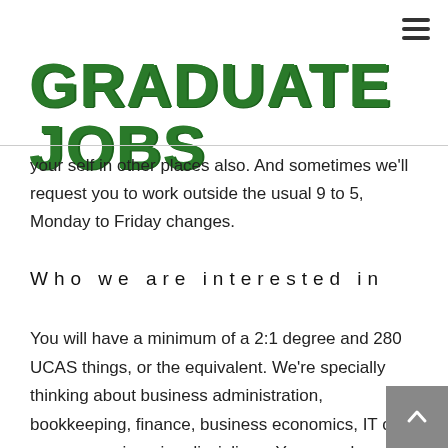[Figure (logo): Graduate Jobs logo in large bold dark green hand-painted style text]
your self in other places also. And sometimes we'll request you to work outside the usual 9 to 5, Monday to Friday changes.
Who we are interested in
You will have a minimum of a 2:1 degree and 280 UCAS things, or the equivalent. We're specially thinking about business administration, bookkeeping, finance, business economics, IT or a process engineering disciplines. You can also need to be extremely organised, great under pressure, and fast to adapt